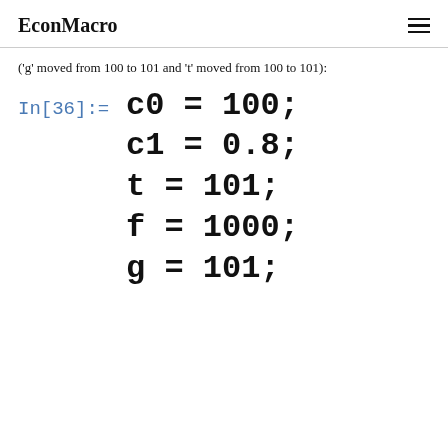EconMacro
('g' moved from 100 to 101 and 't' moved from 100 to 101):